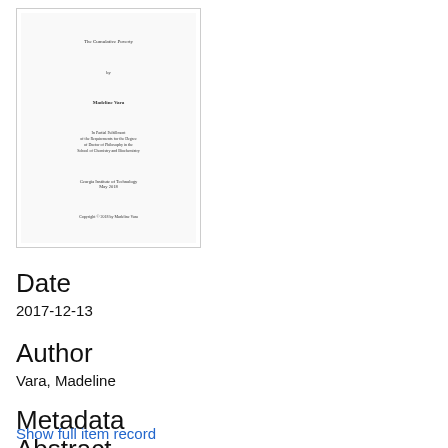[Figure (other): Thumbnail preview of a thesis title page with centered text showing title, author name, submission statement, institution, date, and copyright notice]
Date
2017-12-13
Author
Vara, Madeline
Metadata
Show full item record
Abstract